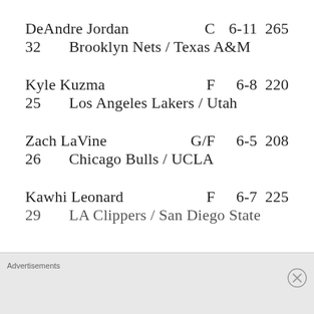DeAndre Jordan   C   6-11   265
32   Brooklyn Nets / Texas A&M
Kyle Kuzma   F   6-8   220
25   Los Angeles Lakers / Utah
Zach LaVine   G/F   6-5   208
26   Chicago Bulls / UCLA
Kawhi Leonard   F   6-7   225
29   LA Clippers / San Diego State
Advertisements